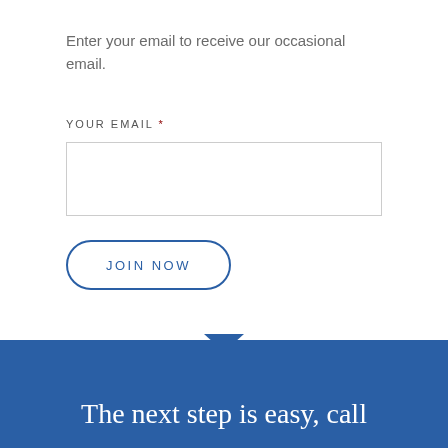Enter your email to receive our occasional email.
YOUR EMAIL *
[Figure (other): Email input text field with light gray border]
[Figure (other): JOIN NOW button with rounded border in blue]
The next step is easy, call